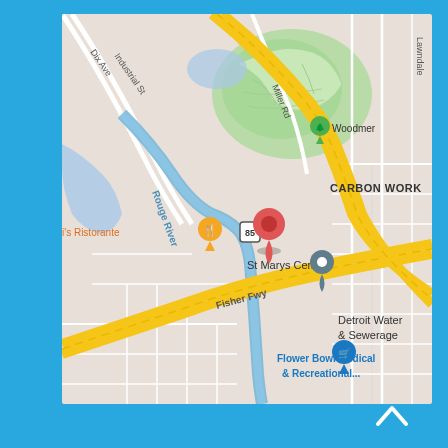[Figure (map): Google Maps view showing St Marys Cement location near Rouge River, Detroit. Shows Fisher Fwy, Miller Rd, Carbon Works, Woodmer park, Detroit Water & Sewerage, Flower Bowl Medical & Recreational, and i's Ristorante. A red location pin marks St Marys Cement. Route 85 marker visible. Yellow roads indicate major highways. Blue waterway of Rouge River runs through the map.]
[Figure (other): White upward-pointing chevron/caret icon on blue background at bottom right of page]